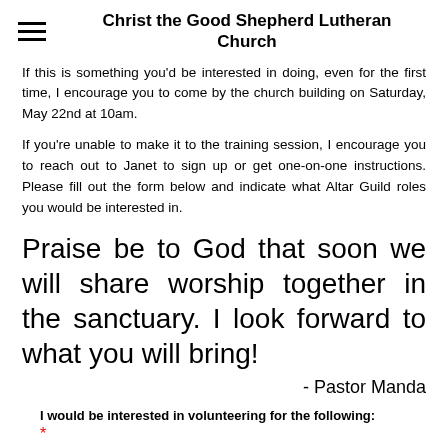Christ the Good Shepherd Lutheran Church
If this is something you'd be interested in doing, even for the first time, I encourage you to come by the church building on Saturday, May 22nd at 10am.
If you're unable to make it to the training session, I encourage you to reach out to Janet to sign up or get one-on-one instructions. Please fill out the form below and indicate what Altar Guild roles you would be interested in.
Praise be to God that soon we will share worship together in the sanctuary. I look forward to what you will bring!
- Pastor Manda
I would be interested in volunteering for the following:
*